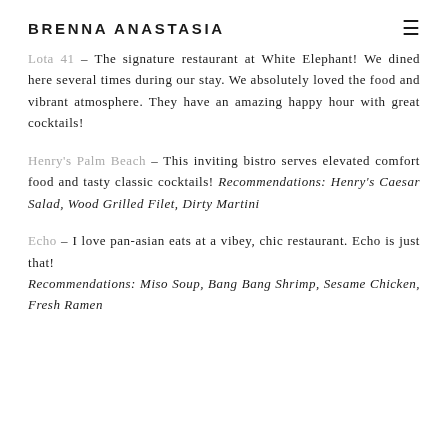BRENNA ANASTASIA
Lota 41 – The signature restaurant at White Elephant! We dined here several times during our stay. We absolutely loved the food and vibrant atmosphere. They have an amazing happy hour with great cocktails!
Henry's Palm Beach – This inviting bistro serves elevated comfort food and tasty classic cocktails! Recommendations: Henry's Caesar Salad, Wood Grilled Filet, Dirty Martini
Echo – I love pan-asian eats at a vibey, chic restaurant. Echo is just that! Recommendations: Miso Soup, Bang Bang Shrimp, Sesame Chicken, Fresh Ramen